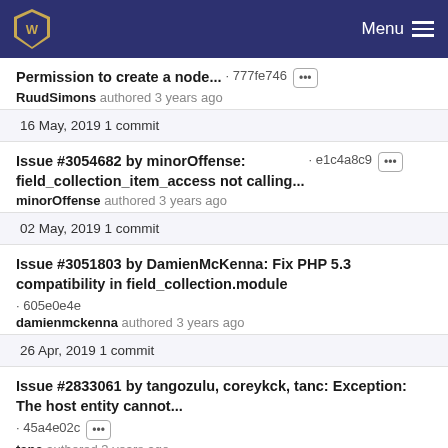Menu
Permission to create a node... · 777fe746 [···]
RuudSimons authored 3 years ago
16 May, 2019 1 commit
Issue #3054682 by minorOffense: field_collection_item_access not calling... · e1c4a8c9 [···]
minorOffense authored 3 years ago
02 May, 2019 1 commit
Issue #3051803 by DamienMcKenna: Fix PHP 5.3 compatibility in field_collection.module · 605e0e4e
damienmckenna authored 3 years ago
26 Apr, 2019 1 commit
Issue #2833061 by tangozulu, coreykck, tanc: Exception: The host entity cannot... · 45a4e02c [···]
tanc authored 3 years ago